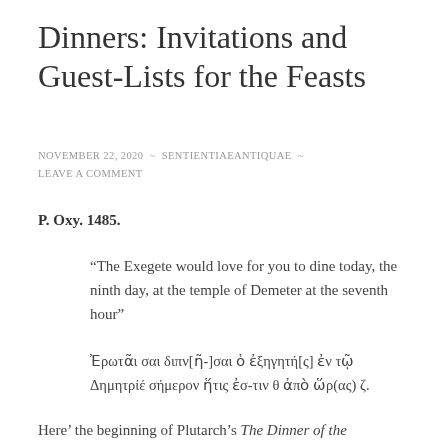Dinners: Invitations and Guest-Lists for the Feasts
NOVEMBER 22, 2020 ~ SENTIENTIAEANTIQUAE ~
LEAVE A COMMENT
P. Oxy. 1485.
“The Exegete would love for you to dine today, the ninth day, at the temple of Demeter at the seventh hour”
Ἐρωτᾶι σαι διπν[ῆ-]σαι ὁ ἐξηγητή[ς] ἐν τῷ Δημητρίῳ σήμερον ἥτις ἐσ-τιν θ ἀπὸ ὥρ(ας) ζ.
Here’ the beginning of Plutarch’s The Dinner of the